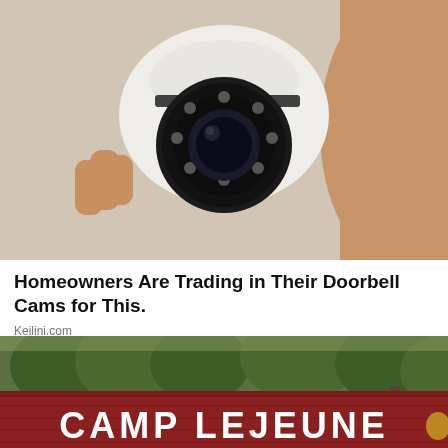[Figure (photo): Close-up photo of a hand holding a small white dome security camera with a round black lens with multiple LEDs, mounted against a light wall background.]
Homeowners Are Trading in Their Doorbell Cams for This.
Keilini.com
[Figure (photo): Photo of the Camp Lejeune entrance sign — large red brick sign with white letters reading CAMP LEJEUNE, with trees in the background.]